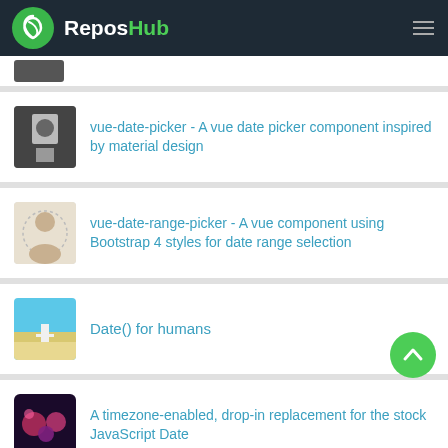ReposHub
[Figure (screenshot): Partially visible card at top with small user avatar]
vue-date-picker - A vue date picker component inspired by material design
vue-date-range-picker - A vue component using Bootstrap 4 styles for date range selection
Date() for humans
A timezone-enabled, drop-in replacement for the stock JavaScript Date
pdd (Python3 Date Diff) is a tiny command line utility to